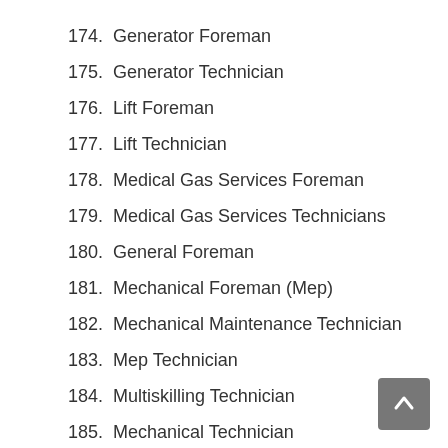174. Generator Foreman
175. Generator Technician
176. Lift Foreman
177. Lift Technician
178. Medical Gas Services Foreman
179. Medical Gas Services Technicians
180. General Foreman
181. Mechanical Foreman (Mep)
182. Mechanical Maintenance Technician
183. Mep Technician
184. Multiskilling Technician
185. Mechanical Technician
186. Electrician
187. Instrument Technician
188. Cable Jointer
189. Permit Holder – Electrical
190. Permit Holder – Civil Diploma